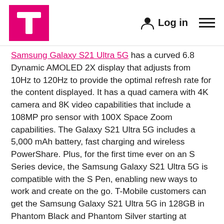T-Mobile logo | Log in | Menu
Samsung Galaxy S21 Ultra 5G has a curved 6.8 Dynamic AMOLED 2X display that adjusts from 10Hz to 120Hz to provide the optimal refresh rate for the content displayed. It has a quad camera with 4K camera and 8K video capabilities that include a 108MP pro sensor with 100X Space Zoom capabilities. The Galaxy S21 Ultra 5G includes a 5,000 mAh battery, fast charging and wireless PowerShare. Plus, for the first time ever on an S Series device, the Samsung Galaxy S21 Ultra 5G is compatible with the S Pen, enabling new ways to work and create on the go. T-Mobile customers can get the Samsung Galaxy S21 Ultra 5G in 128GB in Phantom Black and Phantom Silver starting at $50/month ($0 down, FRP: $1,199.99). Also available in 256GB and 512GB in Phantom Black.